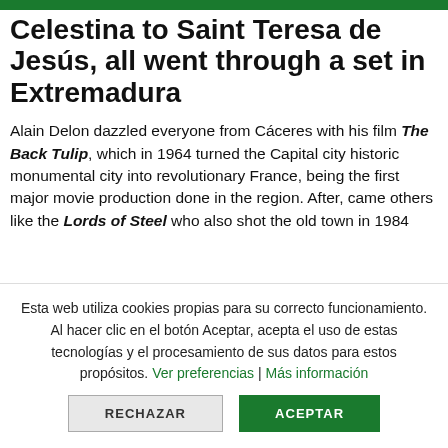Celestina to Saint Teresa de Jesús, all went through a set in Extremadura
Alain Delon dazzled everyone from Cáceres with his film The Back Tulip, which in 1964 turned the Capital city historic monumental city into revolutionary France, being the first major movie production done in the region. After, came others like the Lords of Steel who also shot the old town in 1984
Esta web utiliza cookies propias para su correcto funcionamiento. Al hacer clic en el botón Aceptar, acepta el uso de estas tecnologías y el procesamiento de sus datos para estos propósitos. Ver preferencias | Más información
RECHAZAR | ACEPTAR